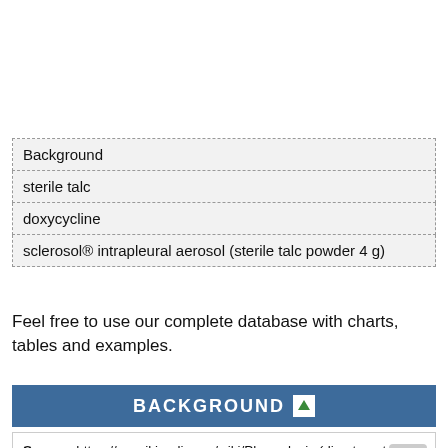| Background |
| sterile talc |
| doxycycline |
| sclerosol® intrapleural aerosol (sterile talc powder 4 g) |
Feel free to use our complete database with charts, tables and examples.
BACKGROUND
Source: https://en.wikipedia.org/wiki/Pleurodesis (direct quotes) .
Pleurodesis is a medical procedure in which the pleural